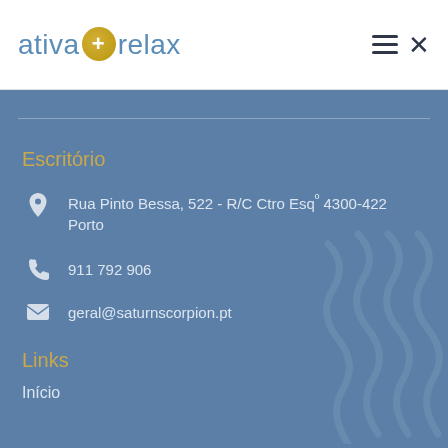ativa+relax
Escritório
📍 Rua Pinto Bessa, 522 - R/C Ctro Esqº 4300-422 Porto
📞 911 792 906
✉ geral@saturnscorpion.pt
Links
Início